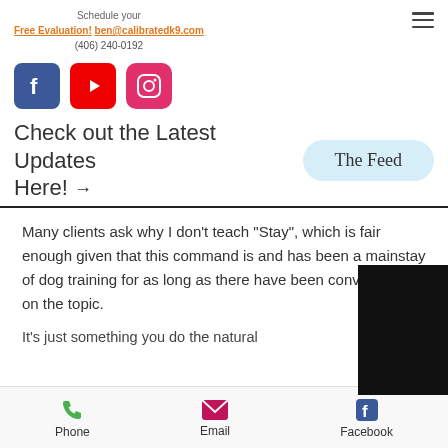Schedule your Free Evaluation! ben@calibratedk9.com (406) 240-0192
[Figure (logo): Facebook, YouTube, and Instagram social media icons]
Check out the Latest Updates Here! → The Feed
Many clients ask why I don't teach "Stay", which is fair enough given that this command is and has been a mainstay of dog training for as long as there have been conversations on the topic.
It's just something you do the natural
Phone   Email   Facebook